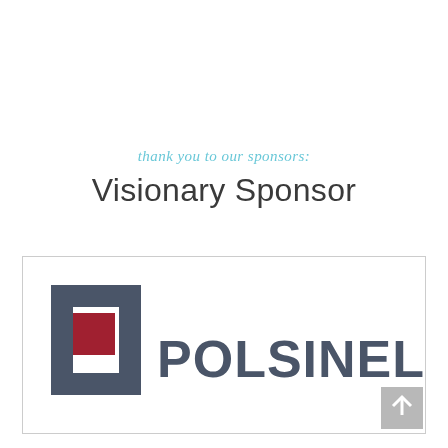thank you to our sponsors:
Visionary Sponsor
[Figure (logo): Polsinelli law firm logo: a dark grey square bracket/frame icon with a red filled square inside, followed by the text POLSINELLI in large dark grey sans-serif capital letters. A back-to-top arrow button is in the bottom right corner of the bordered box.]